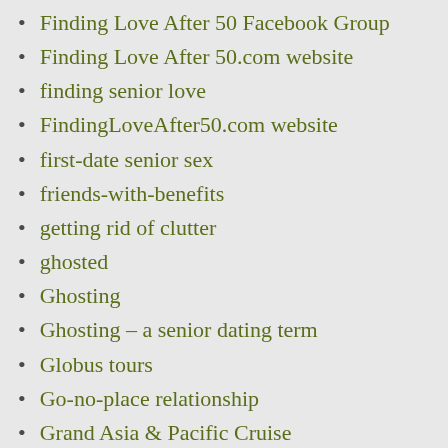Finding Love After 50 Facebook Group
Finding Love After 50.com website
finding senior love
FindingLoveAfter50.com website
first-date senior sex
friends-with-benefits
getting rid of clutter
ghosted
Ghosting
Ghosting – a senior dating term
Globus tours
Go-no-place relationship
Grand Asia & Pacific Cruise
Grand Haven Michigan
Green Valentine's Day
Grumping